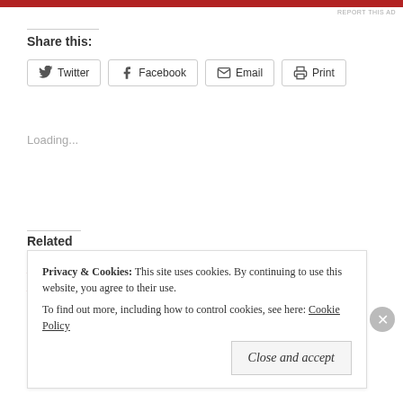Share this:
Twitter
Facebook
Email
Print
Loading...
Related
Every James Bond Movie Listed and Ranked
January 27, 2016
In "James Bond"
Every James Bond Villain Listed and Ranked
May 27, 2015
In "James Bond"
Privacy & Cookies:  This site uses cookies. By continuing to use this website, you agree to their use.
To find out more, including how to control cookies, see here: Cookie Policy
Close and accept